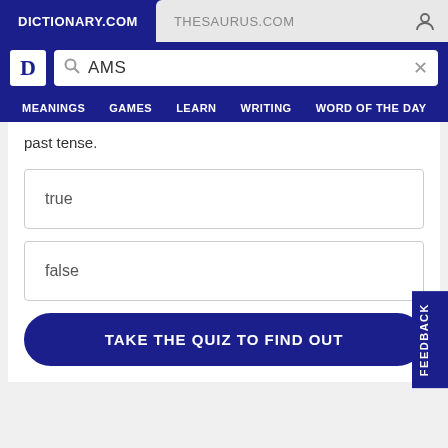DICTIONARY.COM | THESAURUS.COM
[Figure (screenshot): Dictionary.com logo with D icon and search bar showing 'AMS' with a clear X button]
MEANINGS | GAMES | LEARN | WRITING | WORD OF THE DAY
past tense.
true
false
TAKE THE QUIZ TO FIND OUT